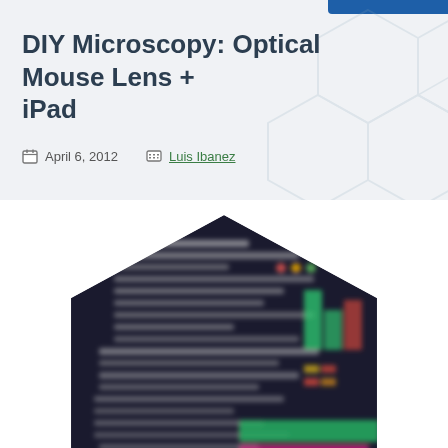DIY Microscopy: Optical Mouse Lens + iPad
April 6, 2012   Luis Ibanez
[Figure (photo): A hexagon-shaped image showing a blurred computer screen with code/terminal text and colorful status bars (green, pink, red) against a dark background, representing microscopy or tech content.]